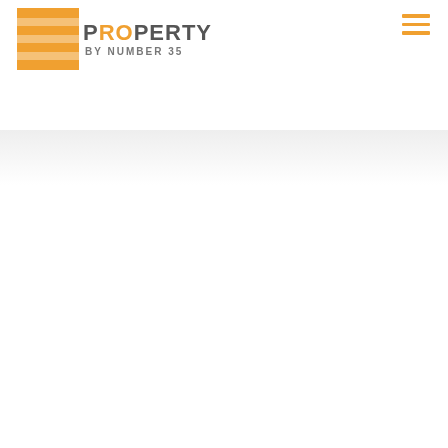[Figure (logo): Property by Number 35 logo: orange square background with horizontal stripe overlays on the left, text 'PROPERTY' in bold grey with 'RO' in orange, 'BY NUMBER 35' in small grey lettering below. Hamburger menu icon (three orange horizontal lines) in top right corner.]